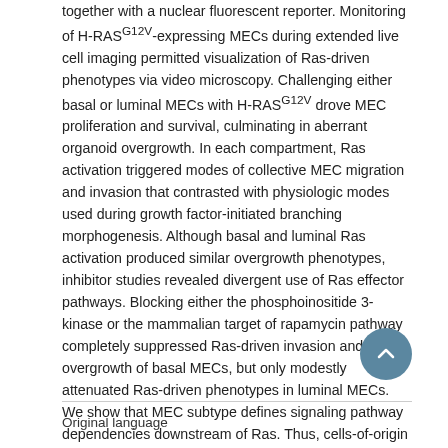together with a nuclear fluorescent reporter. Monitoring of H-RASG12V-expressing MECs during extended live cell imaging permitted visualization of Ras-driven phenotypes via video microscopy. Challenging either basal or luminal MECs with H-RASG12V drove MEC proliferation and survival, culminating in aberrant organoid overgrowth. In each compartment, Ras activation triggered modes of collective MEC migration and invasion that contrasted with physiologic modes used during growth factor-initiated branching morphogenesis. Although basal and luminal Ras activation produced similar overgrowth phenotypes, inhibitor studies revealed divergent use of Ras effector pathways. Blocking either the phosphoinositide 3-kinase or the mammalian target of rapamycin pathway completely suppressed Ras-driven invasion and overgrowth of basal MECs, but only modestly attenuated Ras-driven phenotypes in luminal MECs. We show that MEC subtype defines signaling pathway dependencies downstream of Ras. Thus, cells-of-origin may critically determine the drug sensitivity profiles of mammary neoplasia.
Original language